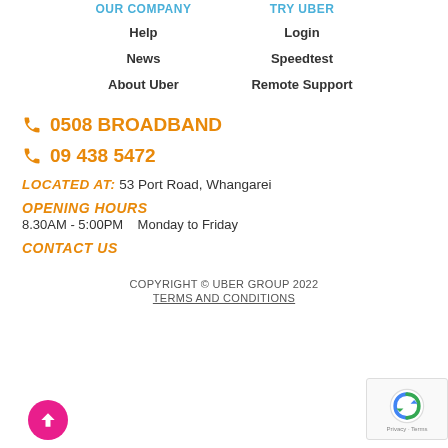OUR COMPANY | TRY UBER
Help
News
About Uber
Login
Speedtest
Remote Support
📞 0508 BROADBAND
📞 09 438 5472
LOCATED AT: 53 Port Road, Whangarei
OPENING HOURS
8.30AM - 5:00PM   Monday to Friday
CONTACT US
COPYRIGHT © UBER GROUP 2022
TERMS AND CONDITIONS